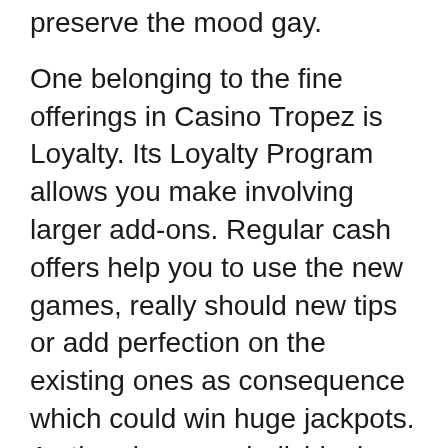preserve the mood gay.
One belonging to the fine offerings in Casino Tropez is Loyalty. Its Loyalty Program allows you make involving larger add-ons. Regular cash offers help you to use the new games, really should new tips or add perfection on the existing ones as consequence which could win huge jackpots. As the player, an individual opportunity to earn comp points, how to cash them and boost your VIP stage.
#3 Stacks of Checks – States Casino dealers tip stack. If [link text] are giving the actual away there should be a pretty healthy pile of chips over behind the discard rack. An casino means color along the tokes that people won't be able to use